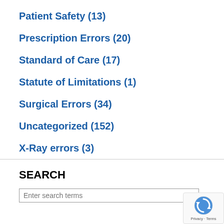Patient Safety (13)
Prescription Errors (20)
Standard of Care (17)
Statute of Limitations (1)
Surgical Errors (34)
Uncategorized (152)
X-Ray errors (3)
SEARCH
Enter search terms